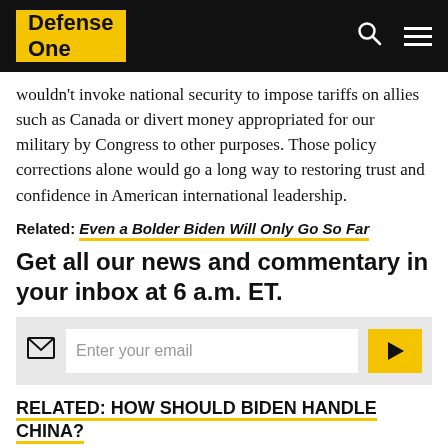Defense One
wouldn't invoke national security to impose tariffs on allies such as Canada or divert money appropriated for our military by Congress to other purposes. Those policy corrections alone would go a long way to restoring trust and confidence in American international leadership.
Related: Even a Bolder Biden Will Only Go So Far
Get all our news and commentary in your inbox at 6 a.m. ET.
Enter your email
RELATED: HOW SHOULD BIDEN HANDLE CHINA?